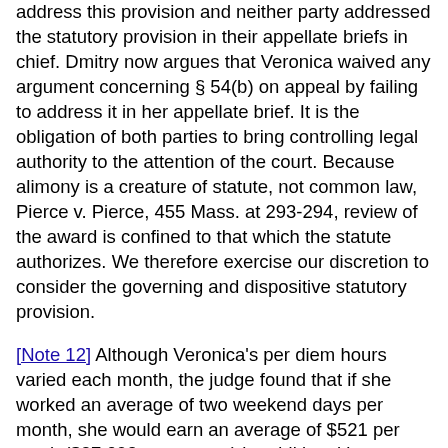address this provision and neither party addressed the statutory provision in their appellate briefs in chief. Dmitry now argues that Veronica waived any argument concerning § 54(b) on appeal by failing to address it in her appellate brief. It is the obligation of both parties to bring controlling legal authority to the attention of the court. Because alimony is a creature of statute, not common law, Pierce v. Pierce, 455 Mass. at 293-294, review of the award is confined to that which the statute authorizes. We therefore exercise our discretion to consider the governing and dispositive statutory provision.
[Note 12] Although Veronica's per diem hours varied each month, the judge found that if she worked an average of two weekend days per month, she would earn an average of $521 per week ($27,092 per annum) in additional income. The judge found that the full-time work combined with the average monthly per diem work, less stated discretionary expenses, resulted in $471.51 per week ($24,518.52 per year) in income in